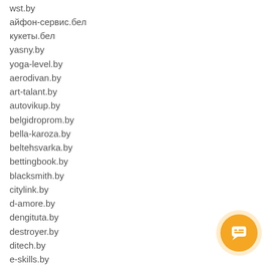wst.by
айфон-сервис.бел
кукеты.бел
yasny.by
yoga-level.by
aerodivan.by
art-talant.by
autovikup.by
belgidroprom.by
bella-karoza.by
beltehsvarka.by
bettingbook.by
blacksmith.by
citylink.by
d-amore.by
dengituta.by
destroyer.by
ditech.by
e-skills.by
ejournals.by
eskills.by
etr.by
[Figure (illustration): Orange circular chat/message button with speech bubble icon]